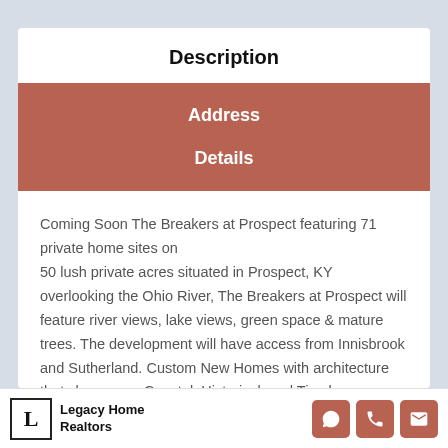Description
Address
Details
Coming Soon The Breakers at Prospect featuring 71 private home sites on 50 lush private acres situated in Prospect, KY overlooking the Ohio River, The Breakers at Prospect will feature river views, lake views, green space & mature trees. The development will have access from Innisbrook and Sutherland. Custom New Homes with architecture that showcases Coastal, Historical, and Timeless Designs.
Legacy Home Realtors